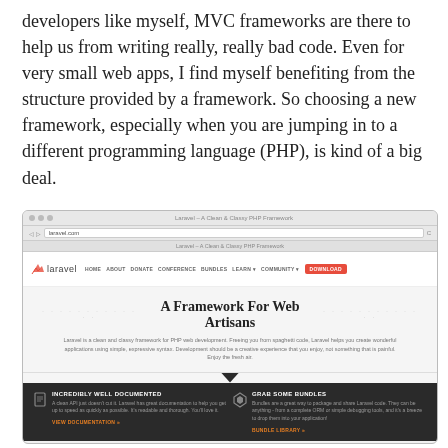developers like myself, MVC frameworks are there to help us from writing really, really bad code. Even for very small web apps, I find myself benefiting from the structure provided by a framework. So choosing a new framework, especially when you are jumping in to a different programming language (PHP), is kind of a big deal.
[Figure (screenshot): Screenshot of the Laravel PHP framework website showing browser chrome, navigation bar with HOME, ABOUT, DONATE, CONFERENCE, BUNDLES, LEARN, COMMUNITY, DOWNLOAD buttons, hero section with 'A Framework For Web Artisans' heading, description text, and a dark footer section with 'INCREDIBLY WELL DOCUMENTED' and 'GRAB SOME BUNDLES' features.]